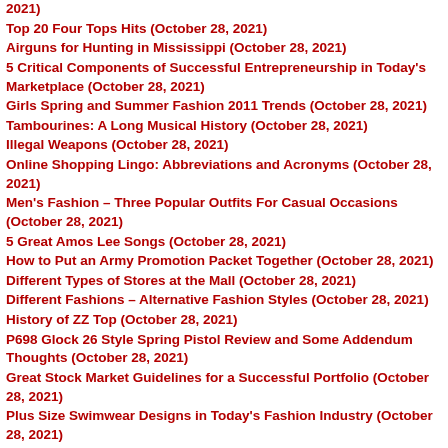2021)
Top 20 Four Tops Hits (October 28, 2021)
Airguns for Hunting in Mississippi (October 28, 2021)
5 Critical Components of Successful Entrepreneurship in Today's Marketplace (October 28, 2021)
Girls Spring and Summer Fashion 2011 Trends (October 28, 2021)
Tambourines: A Long Musical History (October 28, 2021)
Illegal Weapons (October 28, 2021)
Online Shopping Lingo: Abbreviations and Acronyms (October 28, 2021)
Men's Fashion – Three Popular Outfits For Casual Occasions (October 28, 2021)
5 Great Amos Lee Songs (October 28, 2021)
How to Put an Army Promotion Packet Together (October 28, 2021)
Different Types of Stores at the Mall (October 28, 2021)
Different Fashions – Alternative Fashion Styles (October 28, 2021)
History of ZZ Top (October 28, 2021)
P698 Glock 26 Style Spring Pistol Review and Some Addendum Thoughts (October 28, 2021)
Great Stock Market Guidelines for a Successful Portfolio (October 28, 2021)
Plus Size Swimwear Designs in Today's Fashion Industry (October 28, 2021)
A Turning Point in History – The Invention of the Pianoforte (October